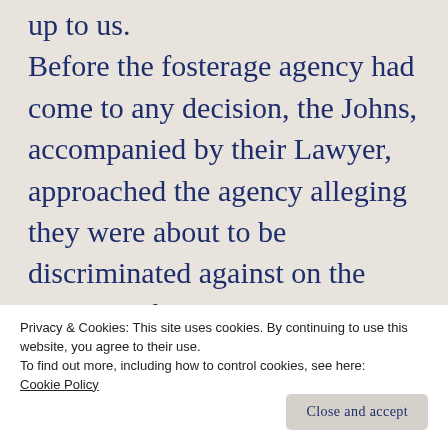up to us. Before the fosterage agency had come to any decision, the Johns, accompanied by their Lawyer, approached the agency alleging they were about to be discriminated against on the grounds of their “Christian” religious beliefs and demanding
Privacy & Cookies: This site uses cookies. By continuing to use this website, you agree to their use.
To find out more, including how to control cookies, see here: Cookie Policy
refer the matter to the High Court